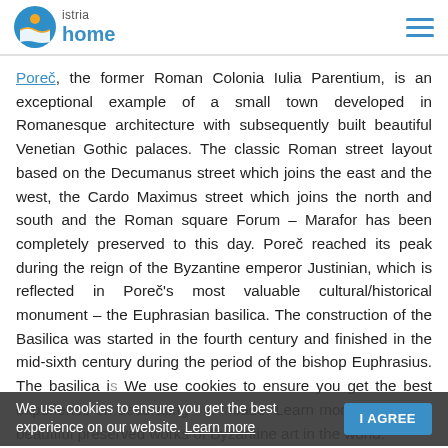istria home
Poreč, the former Roman Colonia Iulia Parentium, is an exceptional example of a small town developed in Romanesque architecture with subsequently built beautiful Venetian Gothic palaces. The classic Roman street layout based on the Decumanus street which joins the east and the west, the Cardo Maximus street which joins the north and south and the Roman square Forum – Marafor has been completely preserved to this day. Poreč reached its peak during the reign of the Byzantine emperor Justinian, which is reflected in Poreč's most valuable cultural/historical monument – the Euphrasian basilica. The construction of the Basilica was started in the fourth century and finished in the mid-sixth century during the period of the bishop Euphrasius. The basilica i... decorating the facade... g the most beautiful preserved works of Byzantine art in the world.
We use cookies to ensure you get the best experience on our website. Learn more  I AGREE